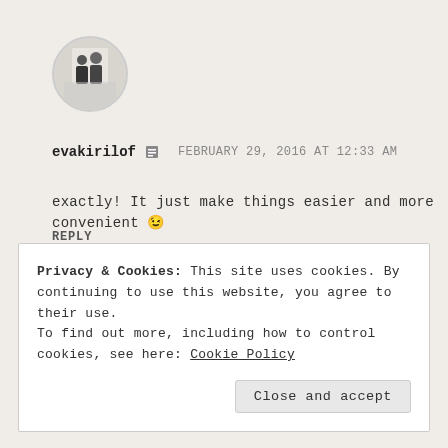[Figure (photo): Circular avatar photo showing a person in a white/light interior setting]
evakirilof  [icon]    FEBRUARY 29, 2016 AT 12:33 AM
exactly! It just make things easier and more convenient 😉
REPLY
Privacy & Cookies: This site uses cookies. By continuing to use this website, you agree to their use.
To find out more, including how to control cookies, see here: Cookie Policy
Close and accept